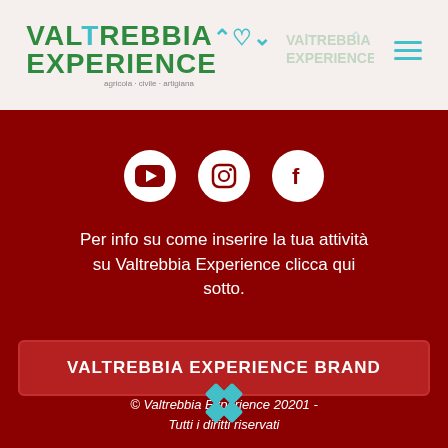[Figure (logo): Valtrebbia Experience logo with green text and teal decorative icon, hamburger menu icon]
[Figure (infographic): Three white social media icons (YouTube, Instagram, Facebook) on dark red background]
Per info su come inserire la tua attività su Valtrebbia Experience clicca qui sotto.
VALTREBBIA EXPERIENCE BRAND
© Valtrebbia Experience 20201 - Tutti i diritti riservati
[Figure (logo): Teal diamond/rhombus decorative icon at bottom center]